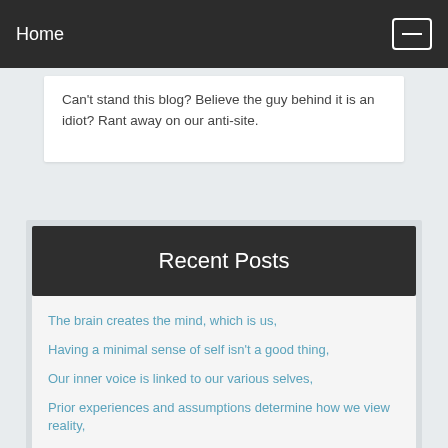Home
Can't stand this blog? Believe the guy behind it is an idiot? Rant away on our anti-site.
Recent Posts
The brain creates the mind, which is us,
Having a minimal sense of self isn't a good thing,
Our inner voice is linked to our various selves,
Prior experiences and assumptions determine how we view reality,
There isn't nature and humans. Nature is all there is, including us.,